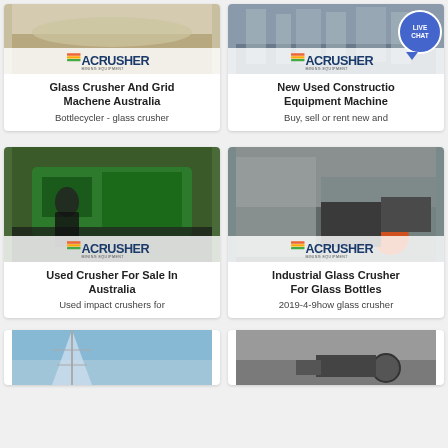[Figure (photo): Card: Glass Crusher And Grid Machene Australia - Acrusher logo, image of sand/quarry site]
[Figure (photo): Card: New Used Construction Equipment Machinery - Acrusher logo, factory/industrial image with Live Chat button]
[Figure (photo): Card: Used Crusher For Sale In Australia - Acrusher logo, image of green crusher machine with person]
[Figure (photo): Card: Industrial Glass Crusher For Glass Bottles - Acrusher logo, grey quarry/crusher site image]
[Figure (photo): Partial card bottom row left: blue sky tower image]
[Figure (photo): Partial card bottom row right: industrial machinery image]